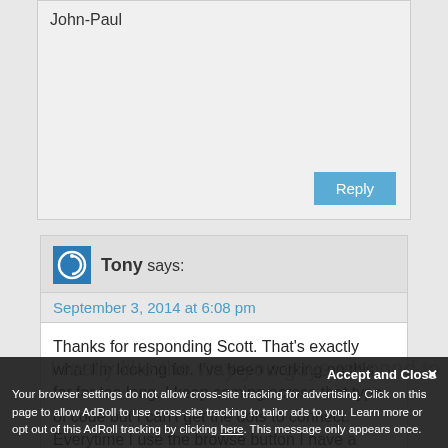John-Paul
Reply
Tony says:
September 3, 2014 at 6:08 pm
Thanks for responding Scott. That's exactly what I'm looking for. I've been working on this for far too long. I keep coming across that type of code but I can't get the dots to connect. Everytime I use the browse button I have a problem with the upload
I really like the way you guys respond to
Accept and Close
Your browser settings do not allow cross-site tracking for advertising. Click on this page to allow AdRoll to use cross-site tracking to tailor ads to you. Learn more or opt out of this AdRoll tracking by clicking here. This message only appears once.